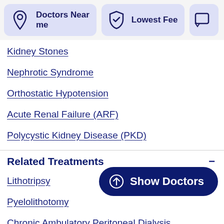[Figure (screenshot): Navigation bar with two cards: 'Doctors Near me' with location pin icon, and 'Lowest Fee' with shield icon, and a partially visible third card with chat icon]
Kidney Stones
Nephrotic Syndrome
Orthostatic Hypotension
Acute Renal Failure (ARF)
Polycystic Kidney Disease (PKD)
Related Treatments
Lithotripsy
Pyelolithotomy
Chronic Ambulatory Peritoneal Dialysis